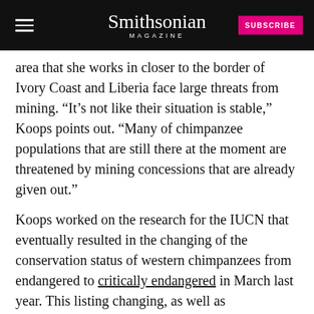Smithsonian MAGAZINE
area that she works in closer to the border of Ivory Coast and Liberia face large threats from mining. “It’s not like their situation is stable,” Koops points out. “Many of chimpanzee populations that are still there at the moment are threatened by mining concessions that are already given out.”
Koops worked on the research for the IUCN that eventually resulted in the changing of the conservation status of western chimpanzees from endangered to critically endangered in March last year. This listing changing, as well as